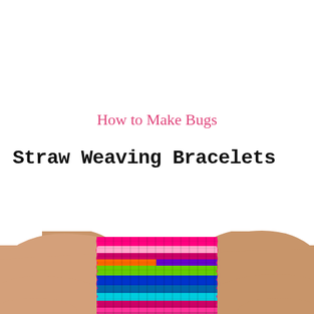How to Make Bugs
Straw Weaving Bracelets
[Figure (photo): A wrist wearing a wide, colorful straw-woven bracelet. The bracelet features horizontal stripes in bright colors including hot pink, light pink, magenta, orange, purple, lime green, dark blue, teal, and cyan. The background is white.]